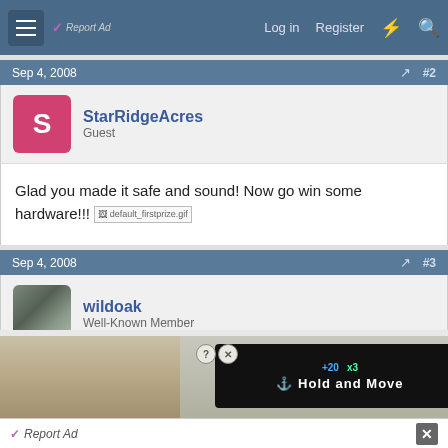Log in  Register
Sep 4, 2008  #2
StarRidgeAcres
Guest
Glad you made it safe and sound! Now go win some hardware!!! [default_firstprize.gif]
Sep 4, 2008  #3
wildoak
Well-Known Member
Thanks for the weather update.......packing extra
Report Ad